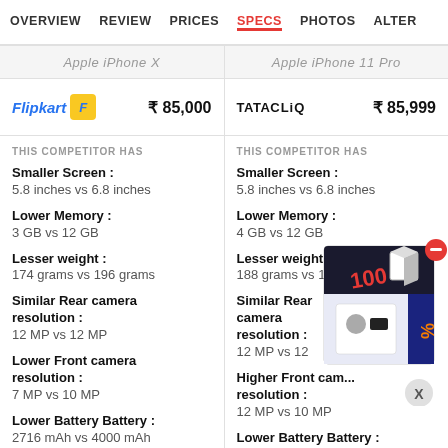OVERVIEW  REVIEW  PRICES  SPECS  PHOTOS  ALTER
Apple iPhone X  |  Apple iPhone 11 Pro
Flipkart ₹ 85,000  |  TATACLIQ ₹ 85,999
THIS COMPETITOR HAS
Smaller Screen : 5.8 inches vs 6.8 inches
Lower Memory : 3 GB vs 12 GB
Lesser weight : 174 grams vs 196 grams
Similar Rear camera resolution : 12 MP vs 12 MP
Lower Front camera resolution : 7 MP vs 10 MP
Lower Battery Battery : 2716 mAh vs 4000 mAh
THIS COMPETITOR HAS
Smaller Screen : 5.8 inches vs 6.8 inches
Lower Memory : 4 GB vs 12 GB
Lesser weight : 188 grams vs 196 grams
Similar Rear camera resolution : 12 MP vs 12 MP
Higher Front camera resolution : 12 MP vs 10 MP
Lower Battery Battery : 3100 mAh vs 4000 mAh
[Figure (other): Advertisement overlay showing a product box with red sale tag and close button]